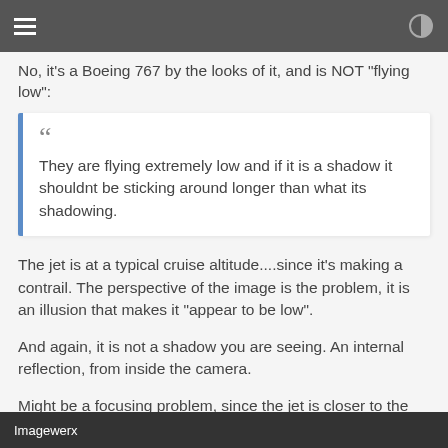No, it's a Boeing 767 by the looks of it, and is NOT "flying low":
They are flying extremely low and if it is a shadow it shouldnt be sticking around longer than what its shadowing.
The jet is at a typical cruise altitude....since it's making a contrail. The perspective of the image is the problem, it is an illusion that makes it "appear to be low".
And again, it is not a shadow you are seeing. An internal reflection, from inside the camera.
Might be a focusing problem, since the jet is closer to the camera by several miles than the ground is.
Imagewerx